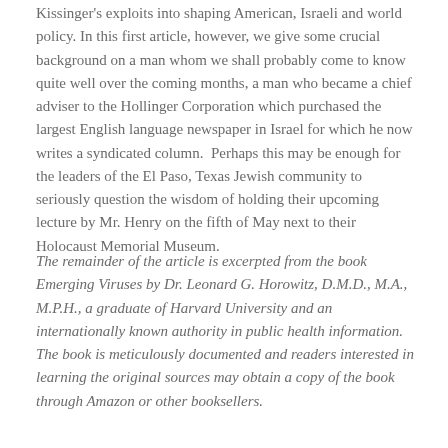Kissinger's exploits into shaping American, Israeli and world policy. In this first article, however, we give some crucial background on a man whom we shall probably come to know quite well over the coming months, a man who became a chief adviser to the Hollinger Corporation which purchased the largest English language newspaper in Israel for which he now writes a syndicated column.  Perhaps this may be enough for the leaders of the El Paso, Texas Jewish community to seriously question the wisdom of holding their upcoming lecture by Mr. Henry on the fifth of May next to their Holocaust Memorial Museum.
The remainder of the article is excerpted from the book Emerging Viruses by Dr. Leonard G. Horowitz, D.M.D., M.A., M.P.H., a graduate of Harvard University and an internationally known authority in public health information.  The book is meticulously documented and readers interested in learning the original sources may obtain a copy of the book through Amazon or other booksellers.